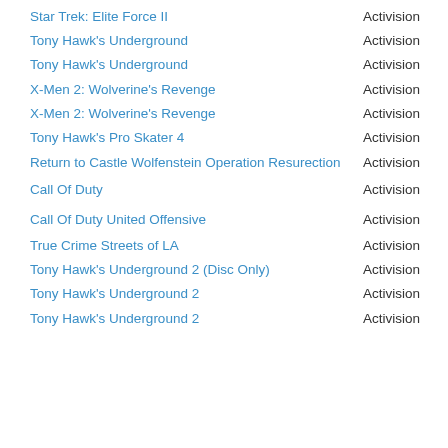Star Trek: Elite Force II | Activision
Tony Hawk's Underground | Activision
Tony Hawk's Underground | Activision
X-Men 2: Wolverine's Revenge | Activision
X-Men 2: Wolverine's Revenge | Activision
Tony Hawk's Pro Skater 4 | Activision
Return to Castle Wolfenstein Operation Resurection | Activision
Call Of Duty | Activision
Call Of Duty United Offensive | Activision
True Crime Streets of LA | Activision
Tony Hawk's Underground 2 (Disc Only) | Activision
Tony Hawk's Underground 2 | Activision
Tony Hawk's Underground 2 | Activision